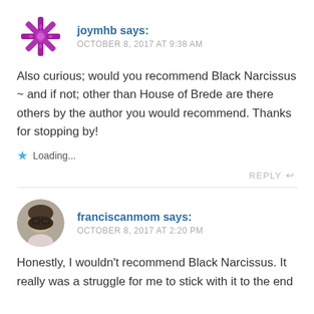[Figure (illustration): Purple/magenta snowflake avatar icon for user joymhb]
joymhb says:
OCTOBER 8, 2017 AT 9:38 AM
Also curious; would you recommend Black Narcissus ~ and if not; other than House of Brede are there others by the author you would recommend. Thanks for stopping by!
Loading...
REPLY
[Figure (photo): Round photo avatar of franciscanmom, a woman with dark-rimmed glasses]
franciscanmom says:
OCTOBER 8, 2017 AT 2:20 PM
Honestly, I wouldn't recommend Black Narcissus. It really was a struggle for me to stick with it to the end